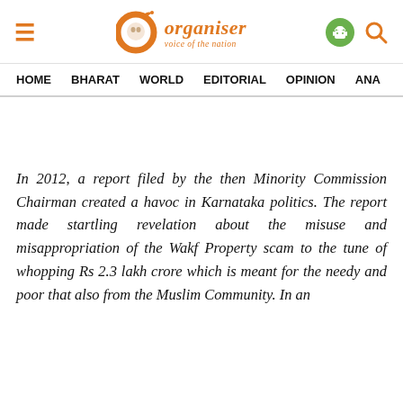Organiser — voice of the nation
HOME  BHARAT  WORLD  EDITORIAL  OPINION  ANA
In 2012, a report filed by the then Minority Commission Chairman created a havoc in Karnataka politics. The report made startling revelation about the misuse and misappropriation of the Wakf Property scam to the tune of whopping Rs 2.3 lakh crore which is meant for the needy and poor that also from the Muslim Community. In an